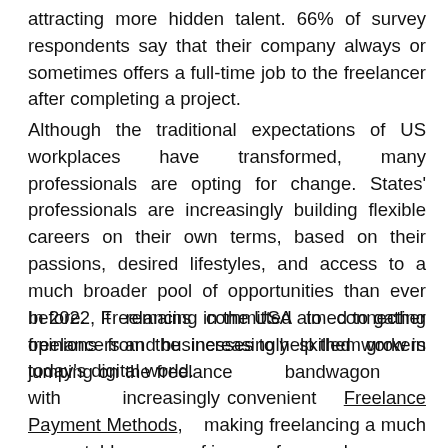attracting more hidden talent. 66% of survey respondents say that their company always or sometimes offers a full-time job to the freelancer after completing a project.
Although the traditional expectations of US workplaces have transformed, many professionals are opting for change. States' professionals are increasingly building flexible careers on their own terms, based on their passions, desired lifestyles, and access to a much broader pool of opportunities than ever before. It remains committed to connecting freelancers and businesses to help them grow in today's digital world.
In 2022, Freelancing in the USA aimed to gather opinions from the increasingly skilled workers jumping on the freelance bandwagon with increasingly convenient Freelance Payment Methods, making freelancing a much more stable source of income for people.